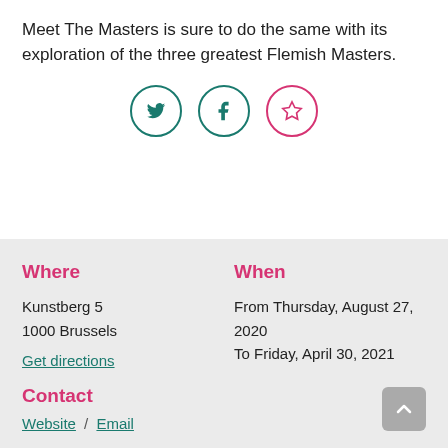Meet The Masters is sure to do the same with its exploration of the three greatest Flemish Masters.
[Figure (other): Three circular social media icons: Twitter (teal border), Facebook (teal border), and a star/bookmark (pink border)]
Where
Kunstberg 5
1000 Brussels
Get directions
When
From Thursday, August 27, 2020
To Friday, April 30, 2021
Contact
Website / Email